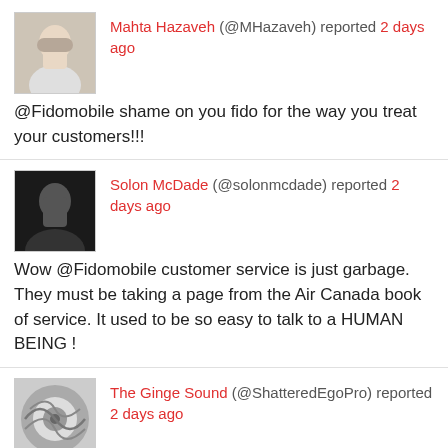Mahta Hazaveh (@MHazaveh) reported 2 days ago
@Fidomobile shame on you fido for the way you treat your customers!!!
Solon McDade (@solonmcdade) reported 2 days ago
Wow @Fidomobile customer service is just garbage. They must be taking a page from the Air Canada book of service. It used to be so easy to talk to a HUMAN BEING !
The Ginge Sound (@ShatteredEgoPro) reported 2 days ago
@Fidomobile Bad company don't do it